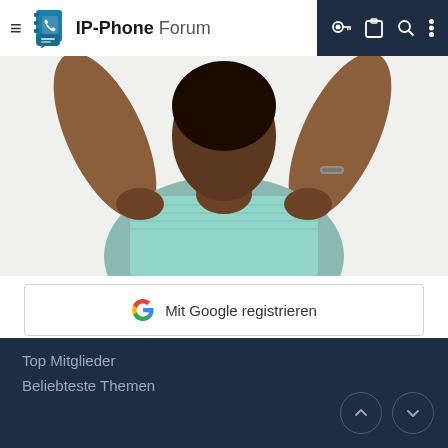IP-Phone Forum
[Figure (photo): A person with raised hands wearing a light blue top, photographed from the torso up against a white background]
Mit Google registrieren
ODER
Via E-Mail registrieren
Top Mitglieder
Beliebteste Themen